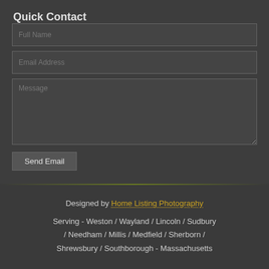Quick Contact
[Figure (screenshot): A web contact form with fields for Full Name, Email Address, Message (textarea), and a Send Email button, on a dark grey background.]
Designed by Home Listing Photography
Serving - Weston / Wayland / Lincoln / Sudbury / Needham / Millis / Medfield / Sherborn / Shrewsbury / Southborough - Massachusetts